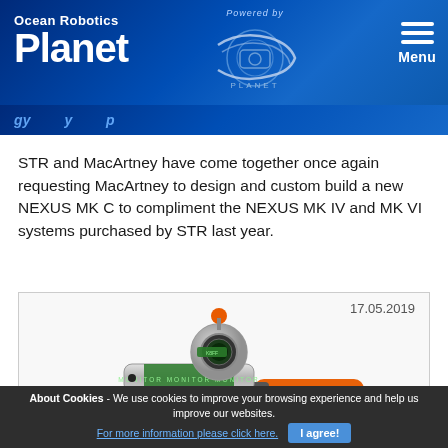Ocean Robotics Planet — Powered by ROV Planet
STR and MacArtney — [partial title visible]
STR and MacArtney have come together once again requesting MacArtney to design and custom build a new NEXUS MK C to compliment the NEXUS MK IV and MK VI systems purchased by STR last year.
[Figure (photo): Photo of a NEXUS underwater connector/camera unit — silver cylindrical housing with orange knob on top, green labeled band reading MONITOR, and orange cable connector at bottom right. Date: 17.05.2019]
About Cookies - We use cookies to improve your browsing experience and help us improve our websites. For more information please click here. I agree!